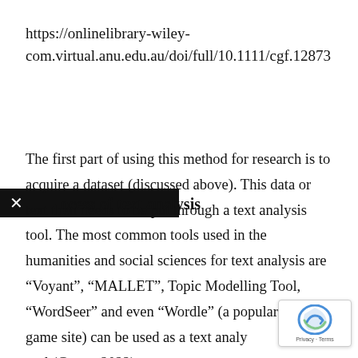https://onlinelibrary-wiley-com.virtual.anu.edu.au/doi/full/10.1111/cgf.12873
Process of text analysis
The first part of using this method for research is to acquire a dataset (discussed above). This data or text then needs to be put through a text analysis tool. The most common tools used in the humanities and social sciences for text analysis are “Voyant”, “MALLET”, Topic Modelling Tool, “WordSeer” and even “Wordle” (a popular word game site) can be used as a text analysis tool (Gupta, 2022).